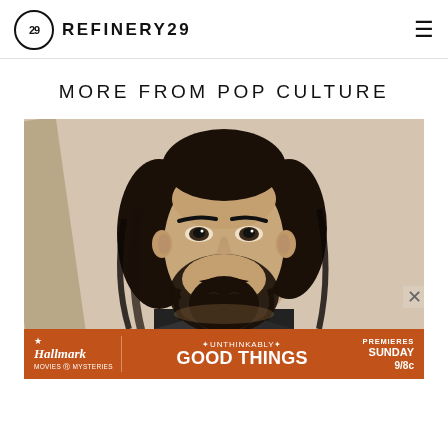REFINERY29
MORE FROM POP CULTURE
[Figure (photo): Close-up portrait of a man with long dark hair and beard, wearing a dark suit, photographed at what appears to be a red carpet event with a light background]
Hallmark MOVIES & MYSTERIES ✿UNTHINKABLY✿ GOOD THINGS PREMIERES SUNDAY 9/8c